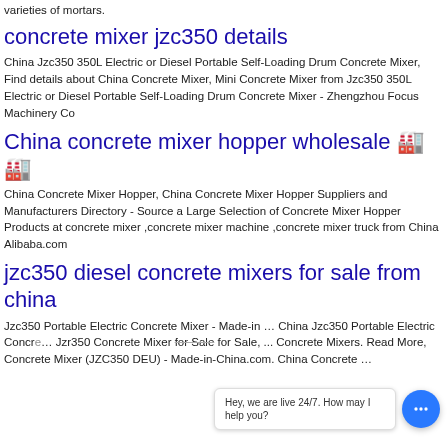varieties of mortars.
concrete mixer jzc350 details
China Jzc350 350L Electric or Diesel Portable Self-Loading Drum Concrete Mixer, Find details about China Concrete Mixer, Mini Concrete Mixer from Jzc350 350L Electric or Diesel Portable Self-Loading Drum Concrete Mixer - Zhengzhou Focus Machinery Co
China concrete mixer hopper wholesale 🏭🏭
China Concrete Mixer Hopper, China Concrete Mixer Hopper Suppliers and Manufacturers Directory - Source a Large Selection of Concrete Mixer Hopper Products at concrete mixer ,concrete mixer machine ,concrete mixer truck from China Alibaba.com
jzc350 diesel concrete mixers for sale from china
Jzc350 Portable Electric Concrete Mixer - Made-in … China Jzc350 Portable Electric Concrete Mixer … Jzr350 Concrete Mixer for Sale, ... Concrete Mixers. Read More, Concrete Mixer (JZC350 DEU) - Made-in-China.com. China Concrete …